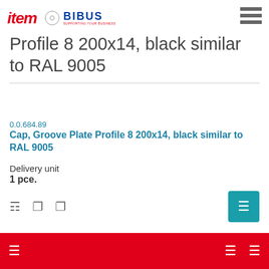[Figure (logo): item and BIBUS logos with hamburger menu icon]
Profile 8 200x14, black similar to RAL 9005
0.0.684.89
Cap, Groove Plate Profile 8 200x14, black similar to RAL 9005
Delivery unit
1 pce.